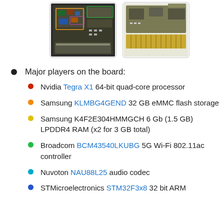[Figure (photo): Two circuit board photos side by side: left shows a densely populated motherboard with colored component highlights, right shows a simpler PCB with gold connectors.]
Major players on the board:
Nvidia Tegra X1 64-bit quad-core processor
Samsung KLMBG4GEND 32 GB eMMC flash storage
Samsung K4F2E304HMMGCH 6 Gb (1.5 GB) LPDDR4 RAM (x2 for 3 GB total)
Broadcom BCM43540LKUBG 5G Wi-Fi 802.11ac controller
Nuvoton NAU88L25 audio codec
STMicroelectronics STM32F3x8 32 bit ARM Cortex M4 microcontroller